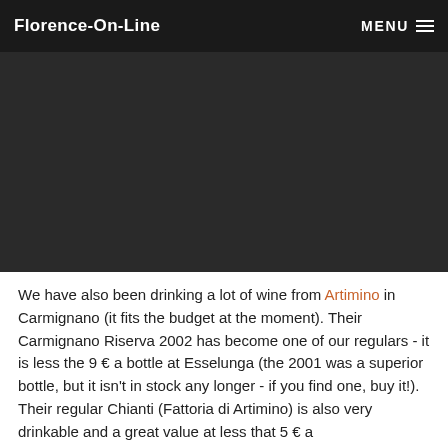Florence-On-Line  MENU
[Figure (other): Advertisement or image area with dark background]
We have also been drinking a lot of wine from Artimino in Carmignano (it fits the budget at the moment). Their Carmignano Riserva 2002 has become one of our regulars - it is less the 9 € a bottle at Esselunga (the 2001 was a superior bottle, but it isn't in stock any longer - if you find one, buy it!). Their regular Chianti (Fattoria di Artimino) is also very drinkable and a great value at less that 5 € a